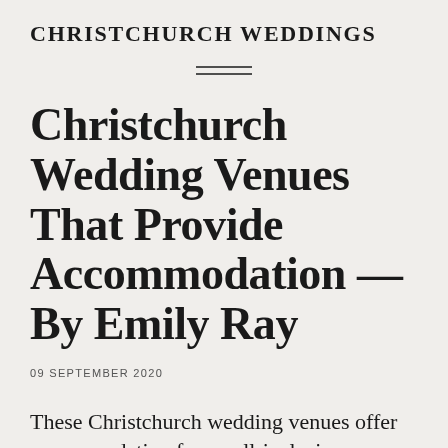CHRISTCHURCH WEDDINGS
Christchurch Wedding Venues That Provide Accommodation — By Emily Ray
09 SEPTEMBER 2020
These Christchurch wedding venues offer accommodation for an all-inclusive